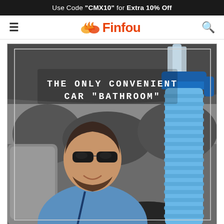Use Code "CMX10" for Extra 10% Off
[Figure (logo): Finfou logo with stylized flame/wave icon in orange and red, followed by brand name 'Finfou' in red-orange bold text]
[Figure (photo): Product advertisement photo showing a smiling man with sunglasses and beard driving a car, holding a blue collapsible portable urinal device. Text overlay reads: THE ONLY CONVENIENT CAR BATHROOM. The background is black and white while the product is in color (blue).]